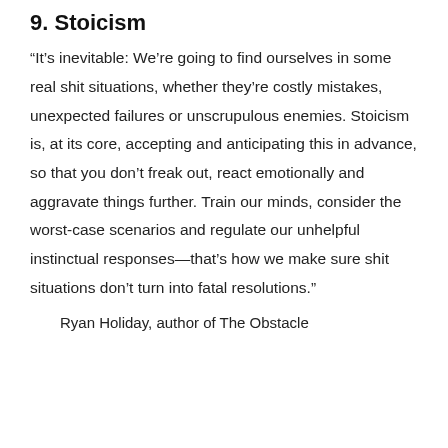9. Stoicism
“It’s inevitable: We’re going to find ourselves in some real shit situations, whether they’re costly mistakes, unexpected failures or unscrupulous enemies. Stoicism is, at its core, accepting and anticipating this in advance, so that you don’t freak out, react emotionally and aggravate things further. Train our minds, consider the worst-case scenarios and regulate our unhelpful instinctual responses—that’s how we make sure shit situations don’t turn into fatal resolutions.”
Ryan Holiday, author of The Obstacle